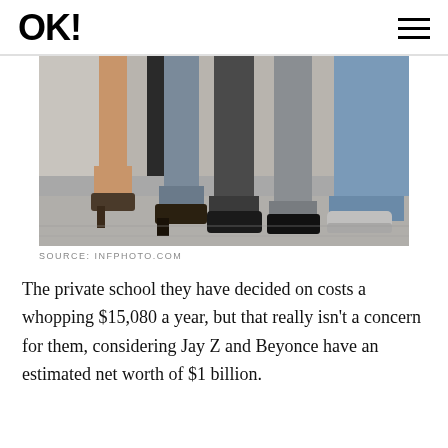OK!
[Figure (photo): Close-up photo of people's legs and feet walking on a sidewalk, showing various shoes and pants legs.]
SOURCE: INFPHOTO.COM
The private school they have decided on costs a whopping $15,080 a year, but that really isn't a concern for them, considering Jay Z and Beyonce have an estimated net worth of $1 billion.